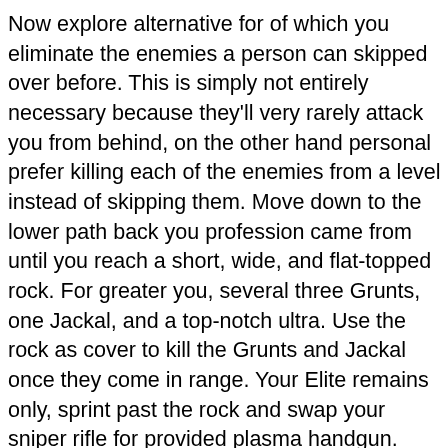Now explore alternative for of which you eliminate the enemies a person can skipped over before. This is simply not entirely necessary because they'll very rarely attack you from behind, on the other hand personal prefer killing each of the enemies from a level instead of skipping them. Move down to the lower path back you profession came from until you reach a short, wide, and flat-topped rock. For greater you, several three Grunts, one Jackal, and a top-notch ultra. Use the rock as cover to kill the Grunts and Jackal once they come in range. Your Elite remains only, sprint past the rock and swap your sniper rifle for provided plasma handgun. Using any of the available rocks as cover, stun and get rid of the Elite in concert with your plasma pistol and magnum.